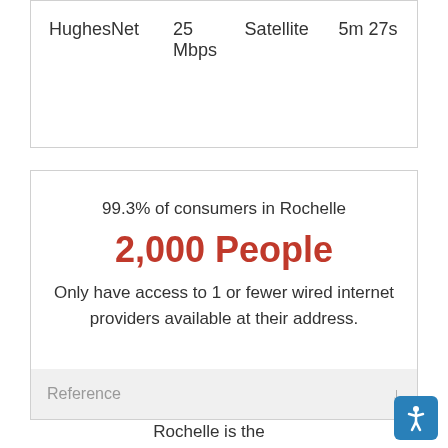| Provider | Speed | Type | Time |
| --- | --- | --- | --- |
| HughesNet | 25 Mbps | Satellite | 5m 27s |
99.3% of consumers in Rochelle
2,000 People
Only have access to 1 or fewer wired internet providers available at their address.
Reference
Rochelle is the